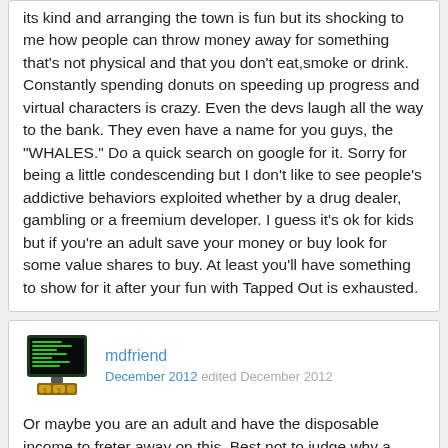its kind and arranging the town is fun but its shocking to me how people can throw money away for something that's not physical and that you don't eat,smoke or drink. Constantly spending donuts on speeding up progress and virtual characters is crazy. Even the devs laugh all the way to the bank. They even have a name for you guys, the "WHALES." Do a quick search on google for it. Sorry for being a little condescending but I don't like to see people's addictive behaviors exploited whether by a drug dealer, gambling or a freemium developer. I guess it's ok for kids but if you're an adult save your money or buy look for some value shares to buy. At least you'll have something to show for it after your fun with Tapped Out is exhausted.
mdfriend
December 2012 edited December 2012
Or maybe you are an adult and have the disposable income to freter away on this. Best not to judge why a person does what they do and just be happy with your own life. Not to be condescending or anything, but really, how we spend our money and enjoyment is our choice.